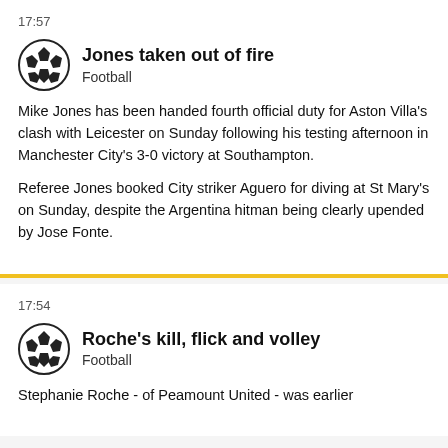17:57
Jones taken out of fire
Football
Mike Jones has been handed fourth official duty for Aston Villa's clash with Leicester on Sunday following his testing afternoon in Manchester City's 3-0 victory at Southampton.
Referee Jones booked City striker Aguero for diving at St Mary's on Sunday, despite the Argentina hitman being clearly upended by Jose Fonte.
17:54
Roche's kill, flick and volley
Football
Stephanie Roche - of Peamount United - was earlier